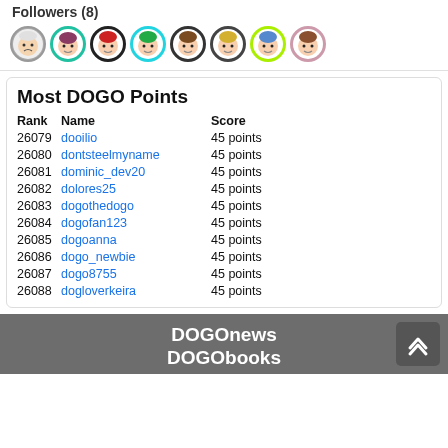Followers (8)
[Figure (illustration): Row of 8 anime-style circular avatar icons with colored borders]
Most DOGO Points
| Rank | Name | Score |
| --- | --- | --- |
| 26079 | dooilio | 45 points |
| 26080 | dontsteelmyname | 45 points |
| 26081 | dominic_dev20 | 45 points |
| 26082 | dolores25 | 45 points |
| 26083 | dogothedogo | 45 points |
| 26084 | dogofan123 | 45 points |
| 26085 | dogoanna | 45 points |
| 26086 | dogo_newbie | 45 points |
| 26087 | dogo8755 | 45 points |
| 26088 | dogloverkeira | 45 points |
DOGOnews DOGObooks